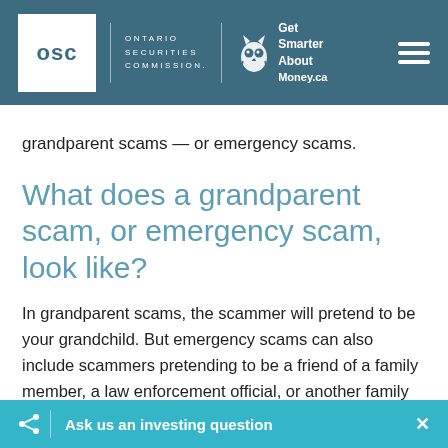OSC Ontario Securities Commission | Get Smarter About Money.ca
grandparent scams — or emergency scams.
What does a grandparent scam, or emergency scam, look like?
In grandparent scams, the scammer will pretend to be your grandchild. But emergency scams can also include scammers pretending to be a friend of a family member, a law enforcement official, or another family member, such as a niece or nephew, who needs hel…
Ask us an investing question